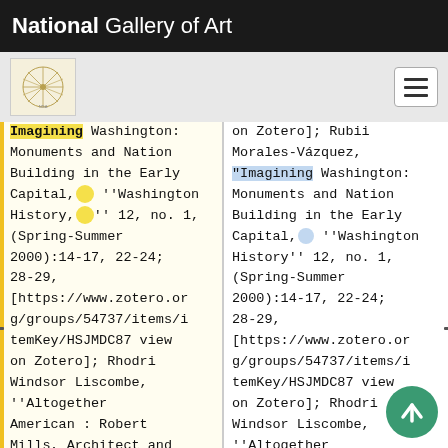National Gallery of Art
Imagining Washington: Monuments and Nation Building in the Early Capital," ''Washington History,'' 12, no. 1, (Spring-Summer 2000):14-17, 22-24; 28-29, [https://www.zotero.org/groups/54737/items/itemKey/HSJMDC87 view on Zotero]; Rhodri Windsor Liscombe, ''Altogether American : Robert Mills, Architect and Engineer, 1781-1855'' (New York: Oxford
on Zotero]; Rubii Morales-Vázquez, "Imagining Washington: Monuments and Nation Building in the Early Capital," ''Washington History'' 12, no. 1, (Spring-Summer 2000):14-17, 22-24; 28-29, [https://www.zotero.org/groups/54737/items/itemKey/HSJMDC87 view on Zotero]; Rhodri Windsor Liscombe, ''Altogether American : Robert Mills, Architect and Engineer, 1781-1855'' (New York: Oxford